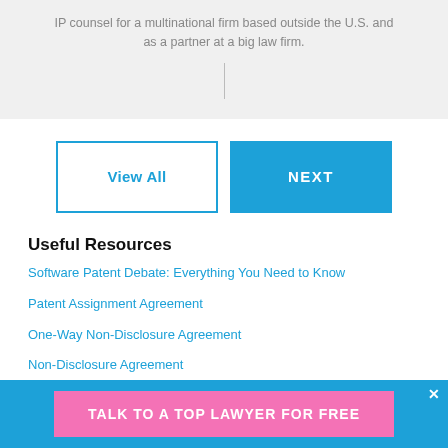IP counsel for a multinational firm based outside the U.S. and as a partner at a big law firm.
View All
NEXT
Useful Resources
Software Patent Debate: Everything You Need to Know
Patent Assignment Agreement
One-Way Non-Disclosure Agreement
Non-Disclosure Agreement
TALK TO A TOP LAWYER FOR FREE